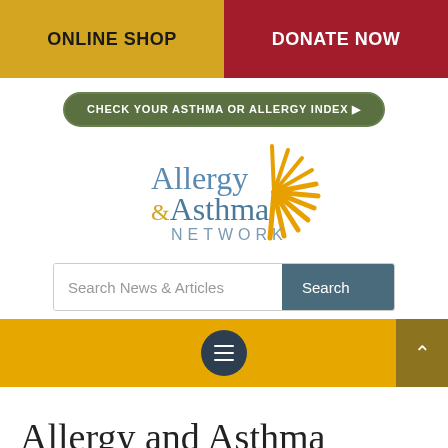ONLINE SHOP | DONATE NOW
[Figure (logo): Allergy & Asthma Network logo with sunburst design in golden yellow and blue/grey text]
CHECK YOUR ASTHMA OR ALLERGY INDEX ▶
Search News & Articles
Search
Allergy and Asthma Online Communities to